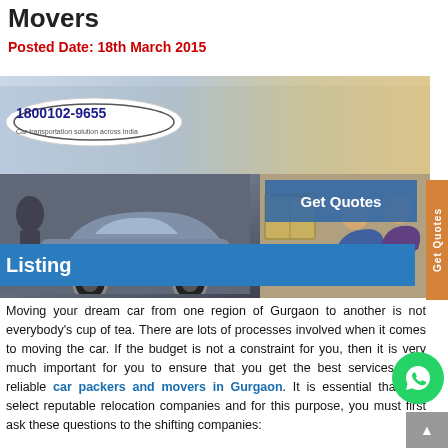Movers
Posted Date: 18th March 2015
[Figure (photo): Composite image showing a car transportation logo with number 1800102-9655 and tagline 'Car transportation solution across India', a car being loaded, and two people sitting with moving boxes. A blue 'Listing' banner and 'Get Quotes' button overlay the image.]
Moving your dream car from one region of Gurgaon to another is not everybody's cup of tea. There are lots of processes involved when it comes to moving the car. If the budget is not a constraint for you, then it is very much important for you to ensure that you get the best services from reliable car packers and movers in Gurgaon. It is essential that you select reputable relocation companies and for this purpose, you must first ask these questions to the shifting companies: